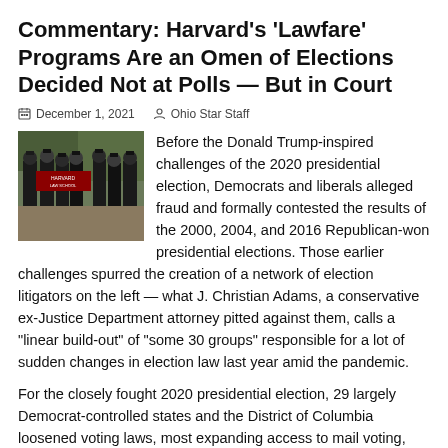Commentary: Harvard's 'Lawfare' Programs Are an Omen of Elections Decided Not at Polls — But in Court
December 1, 2021   Ohio Star Staff
[Figure (photo): Photo of Harvard Law School graduates in caps and gowns holding a Harvard Law School banner outdoors]
Before the Donald Trump-inspired challenges of the 2020 presidential election, Democrats and liberals alleged fraud and formally contested the results of the 2000, 2004, and 2016 Republican-won presidential elections. Those earlier challenges spurred the creation of a network of election litigators on the left — what J. Christian Adams, a conservative ex-Justice Department attorney pitted against them, calls a "linear build-out" of "some 30 groups" responsible for a lot of sudden changes in election law last year amid the pandemic.
For the closely fought 2020 presidential election, 29 largely Democrat-controlled states and the District of Columbia loosened voting laws, most expanding access to mail voting, according to the liberal Brennan Center for Justice. In response,